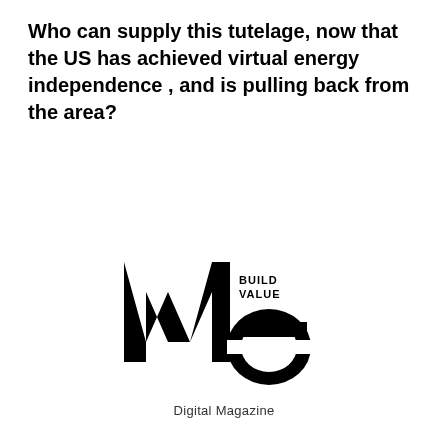Who can supply this tutelage, now that the US has achieved virtual energy independence , and is pulling back from the area?
[Figure (logo): We Build Value Digital Magazine logo — large bold 'We' text with 'BUILD VALUE' text to the right of 'W', and 'Digital Magazine' subtitle below]